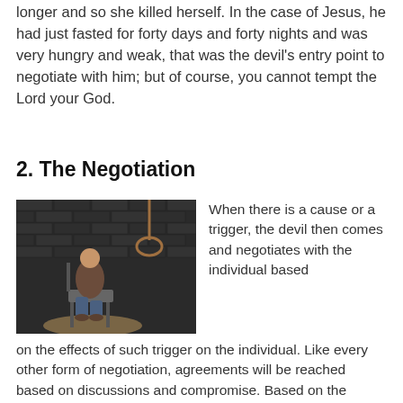longer and so she killed herself. In the case of Jesus, he had just fasted for forty days and forty nights and was very hungry and weak, that was the devil's entry point to negotiate with him; but of course, you cannot tempt the Lord your God.
2. The Negotiation
[Figure (photo): A person sitting hunched over on a chair against a dark brick wall, with a noose hanging in the background — a dark, dramatic image.]
When there is a cause or a trigger, the devil then comes and negotiates with the individual based on the effects of such trigger on the individual. Like every other form of negotiation, agreements will be reached based on discussions and compromise. Based on the negotiation, the individual might come to